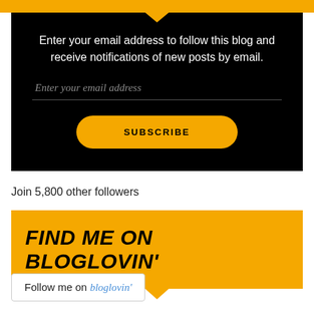[Figure (infographic): Yellow top bar with downward pointing arrow/chevron]
Enter your email address to follow this blog and receive notifications of new posts by email.
Enter your email address
SUBSCRIBE
Join 5,800 other followers
[Figure (infographic): Yellow banner with bold italic text FIND ME ON BLOGLOVIN' and downward pointing arrow]
[Figure (infographic): Follow me on bloglovin' badge with border]